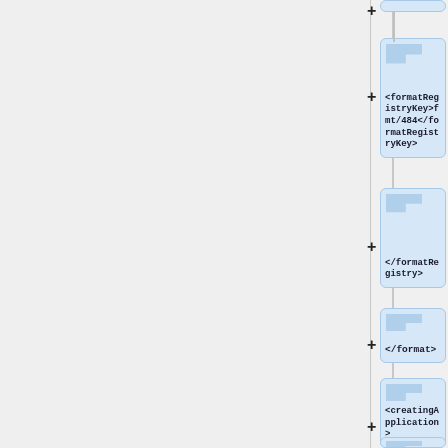[Figure (flowchart): A vertical tree/flowchart diagram showing XML element nodes. Visible nodes from top to bottom: a partially visible node at top, then '<formatRegistryKey>fmt/484</formatRegistryKey>', '</formatRegistry>', '</format>', '<creatingApplication>', and a partially visible node at the bottom. Each node has a '+' expand button to its left and a light-blue box with an F-shaped bracket icon.]